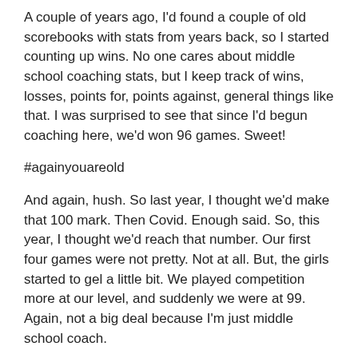A couple of years ago, I'd found a couple of old scorebooks with stats from years back, so I started counting up wins. No one cares about middle school coaching stats, but I keep track of wins, losses, points for, points against, general things like that. I was surprised to see that since I'd begun coaching here, we'd won 96 games. Sweet!
#againyouareold
And again, hush. So last year, I thought we'd make that 100 mark. Then Covid. Enough said. So, this year, I thought we'd reach that number. Our first four games were not pretty. Not at all. But, the girls started to gel a little bit. We played competition more at our level, and suddenly we were at 99. Again, not a big deal because I'm just middle school coach.